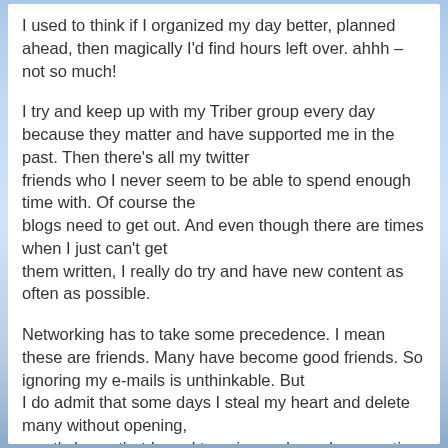I used to think if I organized my day better, planned ahead, then magically I'd find hours left over. ahhh – not so much!
I try and keep up with my Triber group every day because they matter and have supported me in the past. Then there's all my twitter friends who I never seem to be able to spend enough time with. Of course the blogs need to get out. And even though there are times when I just can't get them written, I really do try and have new content as often as possible.
Networking has to take some precedence. I mean these are friends. Many have become good friends. So ignoring my e-mails is unthinkable. But I do admit that some days I steal my heart and delete many without opening, mostly loops that I used to enjoy and now have no time for. We won't even mention facebook and goodreads. Please I'd